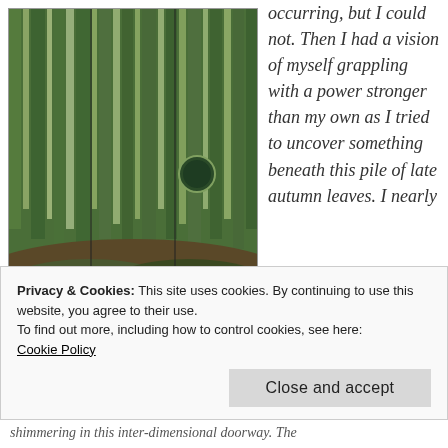[Figure (illustration): Painting of tall green trees in a forest with a hilly landscape beneath, triptych style artwork by R. McGrath]
Matriarchal Madonna, copyright R. McGrath
occurring, but I could not. Then I had a vision of myself grappling with a power stronger than my own as I tried to uncover something beneath this pile of late autumn leaves. I nearly
Privacy & Cookies: This site uses cookies. By continuing to use this website, you agree to their use.
To find out more, including how to control cookies, see here:
Cookie Policy
Close and accept
shimmering in this inter-dimensional doorway. The